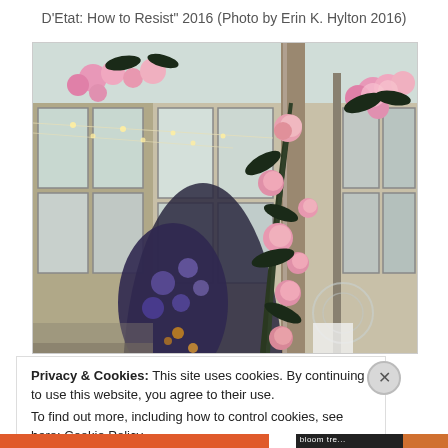D'Etat: How to Resist" 2016 (Photo by Erin K. Hylton 2016)
[Figure (photo): Indoor floral installation in a greenhouse-style space with pink roses and dark blue/purple flowers climbing tall metal poles, string lights, large windows with industrial frames in the background.]
Privacy & Cookies: This site uses cookies. By continuing to use this website, you agree to their use.
To find out more, including how to control cookies, see here: Cookie Policy
Close and accept
bloom tre...